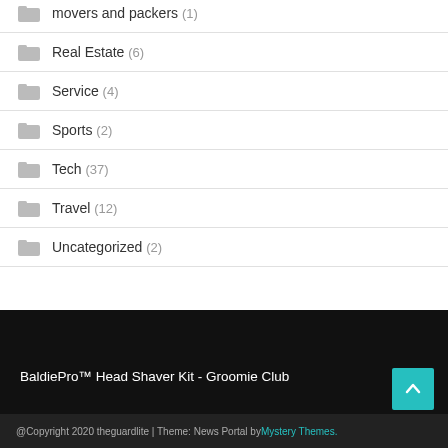movers and packers (1)
Real Estate (6)
Service (4)
Sports (2)
Tech (37)
Travel (12)
Uncategorized (2)
BaldiePro™ Head Shaver Kit - Groomie Club
@Copyright 2020 theguardlite | Theme: News Portal by Mystery Themes.